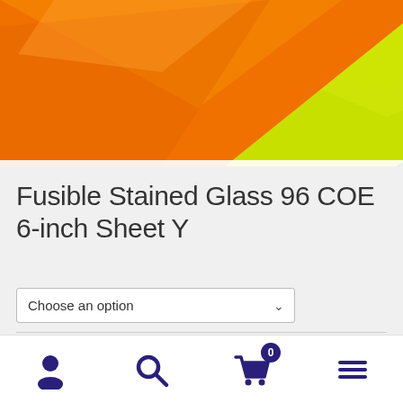[Figure (photo): Product photo showing overlapping sheets of fusible stained glass in orange, yellow-green, and dark green colors on a white background]
Fusible Stained Glass 96 COE 6-inch Sheet Y
Color
Choose an option
1
Add to cart
Navigation bar with user, search, cart (0), and menu icons